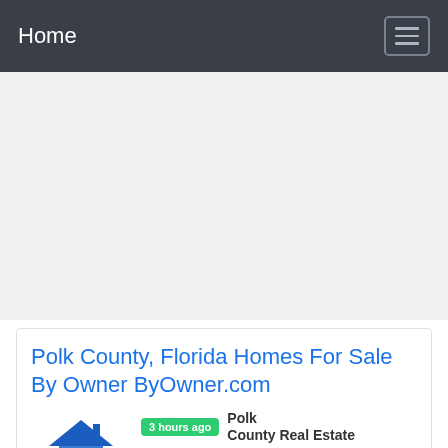Home
[Figure (other): Advertisement placeholder area (gray background)]
Polk County, Florida Homes For Sale By Owner ByOwner.com
[Figure (logo): ByOwner.com house logo with blue roof and gold base/waves]
3 hours ago  Polk County Real Estate  And Homes For Sale By Owner
$795,000